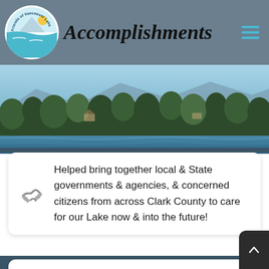Accomplishments
[Figure (photo): Lake with forested hillside and mountains in background]
Helped bring together local & State governments & agencies, & concerned citizens from across Clark County to care for our Lake now & into the future!
Created a coalition to successfully tackle the Milfoil mess at Vancouver Lake, which if left untreated, would have turned our Lake into a